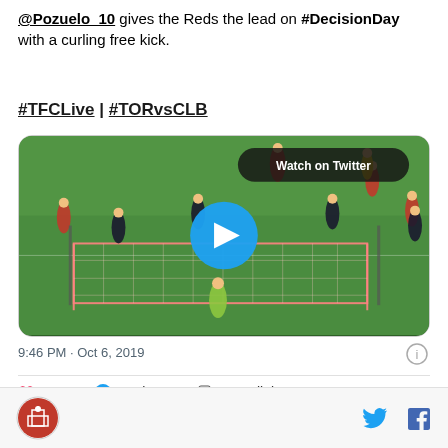@Pozuelo_10 gives the Reds the lead on #DecisionDay with a curling free kick.
#TFCLive | #TORvsCLB
[Figure (screenshot): Video thumbnail of a soccer free kick with players on a green field and a goalkeeper at the goal, with a blue play button overlay and a 'Watch on Twitter' button]
9:46 PM · Oct 6, 2019
16  Reply  Copy link
[Figure (logo): Circular logo with a building/tower emblem and Twitter and Facebook icons on the right]